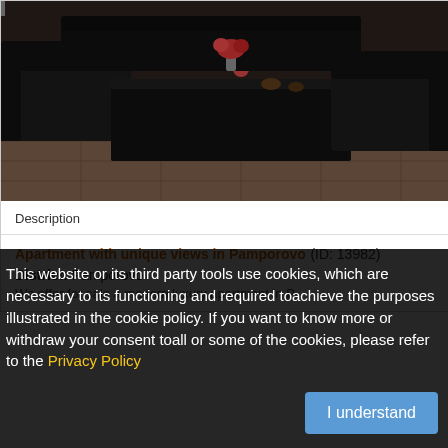[Figure (photo): Interior photo of a room with dark leather sofas and a large dark coffee table on tile floor, with flowers in a vase on the table]
Description
Apartment with unique views in Pamporovo (ID: 13982)
District: Pamporovo
This website or its third party tools use cookies, which are necessary to its functioning and required toachieve the purposes illustrated in the cookie policy. If you want to know more or withdraw your consent toall or some of the cookies, please refer to the Privacy Policy